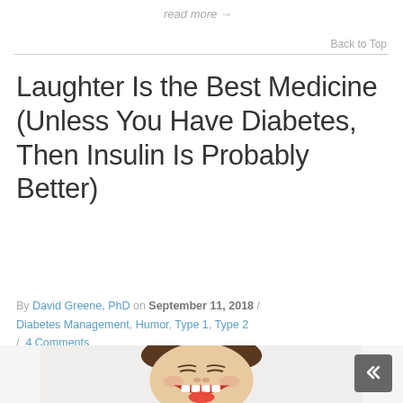read more →
Back to Top
Laughter Is the Best Medicine (Unless You Have Diabetes, Then Insulin Is Probably Better)
By David Greene, PhD on September 11, 2018 / Diabetes Management, Humor, Type 1, Type 2 / 4 Comments
[Figure (photo): Young man laughing loudly with mouth wide open, eyes closed, on white background]